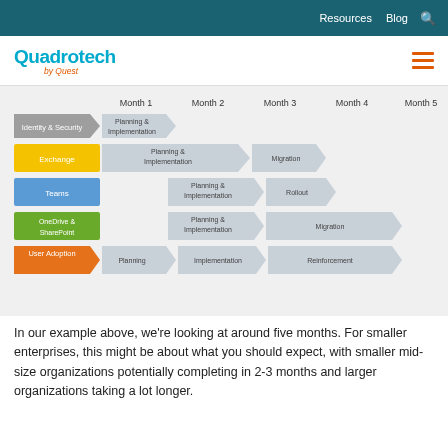Resources  Blog  🔍
[Figure (logo): Quadrotech by Quest logo]
[Figure (infographic): Migration timeline chart showing 5 rows: Identity & Security (Planning & Implementation in Month 1), Exchange (Planning & Implementation Month 1-2, Migration Month 3-4), Teams (Planning & Implementation Month 2-3, Rollout Month 4), OneDrive & SharePoint (Planning & Implementation Month 2-3, Migration Month 4-5), User Adoption (Planning Month 1, Implementation Month 2-3, Reinforcement Month 4-5). Column headers: Month 1, Month 2, Month 3, Month 4, Month 5.]
In our example above, we're looking at around five months. For smaller enterprises, this might be about what you should expect, with smaller mid-size organizations potentially completing in 2-3 months and larger organizations taking a lot longer.